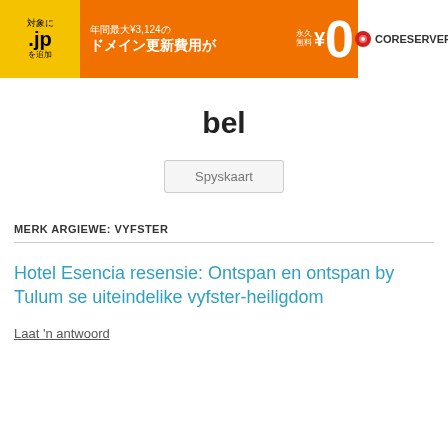[Figure (screenshot): Orange and yellow banner advertisement for CORESERVER domain renewal service in Japanese. Text reads: 対象に .jp を追加, 年間最大¥3,124の ドメイン更新費用が, 永久無料 ¥0, CORESERVER logo.]
bel
Spyskaart
MERK ARGIEWE: VYFSTER
Hotel Esencia resensie: Ontspan en ontspan by Tulum se uiteindelike vyfster-heiligdom
Laat 'n antwoord